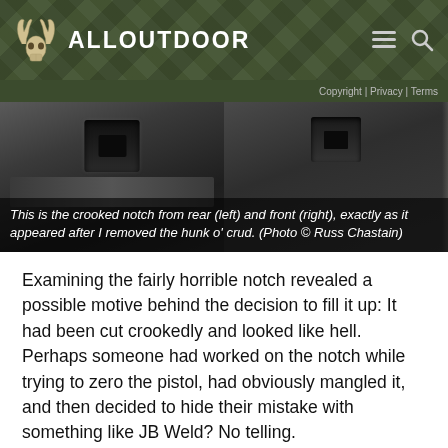ALLOUTDOOR
Copyright | Privacy | Terms
[Figure (photo): Two-panel photograph showing a crooked notch on a pistol sight from the rear (left panel) and front (right panel).]
This is the crooked notch from rear (left) and front (right), exactly as it appeared after I removed the hunk o' crud. (Photo © Russ Chastain)
Examining the fairly horrible notch revealed a possible motive behind the decision to fill it up: It had been cut crookedly and looked like hell. Perhaps someone had worked on the notch while trying to zero the pistol, had obviously mangled it, and then decided to hide their mistake with something like JB Weld? No telling.
I did feel kinda dumb for believing the sight had not been notched by the factory. Ah well, live and learn.
I desperately wanted to clean up the crooked notch, but